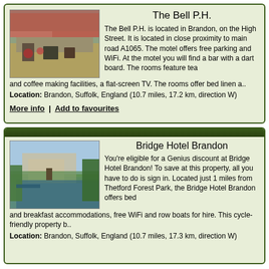The Bell P.H.
[Figure (photo): Exterior photo of The Bell P.H., a stone building with red tile roof and flowers]
The Bell P.H. is located in Brandon, on the High Street. It is located in close proximity to main road A1065. The motel offers free parking and WiFi. At the motel you will find a bar with a dart board. The rooms feature tea and coffee making facilities, a flat-screen TV. The rooms offer bed linen a..
Location: Brandon, Suffolk, England (10.7 miles, 17.2 km, direction W)
More info | Add to favourites
Bridge Hotel Brandon
[Figure (photo): Photo of Bridge Hotel Brandon with river and trees in foreground]
You're eligible for a Genius discount at Bridge Hotel Brandon! To save at this property, all you have to do is sign in. Located just 1 miles from Thetford Forest Park, the Bridge Hotel Brandon offers bed and breakfast accommodations, free WiFi and row boats for hire. This cycle-friendly property b..
Location: Brandon, Suffolk, England (10.7 miles, 17.3 km, direction W)